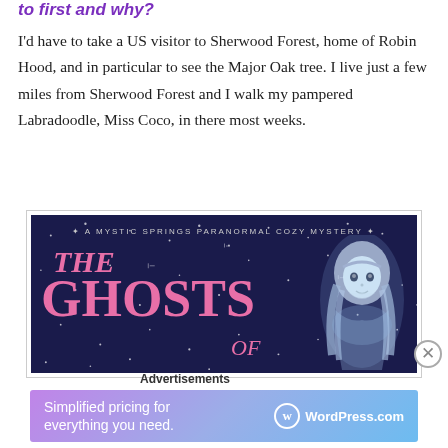to first and why?
I'd have to take a US visitor to Sherwood Forest, home of Robin Hood, and in particular to see the Major Oak tree. I live just a few miles from Sherwood Forest and I walk my pampered Labradoodle, Miss Coco, in there most weeks.
[Figure (illustration): Book cover banner for 'The Ghosts of...' — A Mystic Springs Paranormal Cozy Mystery, dark navy background with pink title text and illustrated glowing female figure on the right]
Advertisements
[Figure (other): WordPress.com advertisement: 'Simplified pricing for everything you need.' on a purple-to-blue gradient background with WordPress logo]